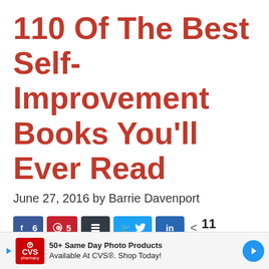110 Of The Best Self-Improvement Books You'll Ever Read
June 27, 2016 by Barrie Davenport
[Figure (other): Social share buttons: Facebook (6), Pinterest (5), Buffer, Twitter, LinkedIn; share count showing 11 SHARES]
If you’re a self-improvement junkie like I am, you’re always looking for something interesting and inspired to read
[Figure (other): CVS Pharmacy advertisement banner: '50+ Same Day Photo Products Available At CVS®. Shop Today!']